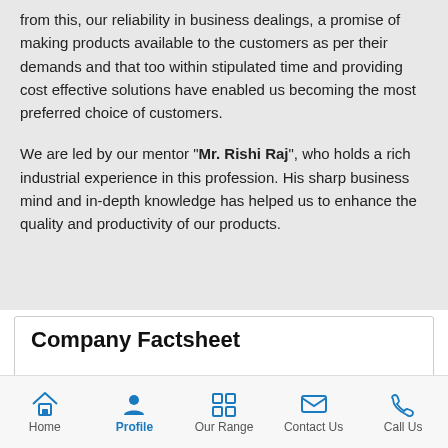from this, our reliability in business dealings, a promise of making products available to the customers as per their demands and that too within stipulated time and providing cost effective solutions have enabled us becoming the most preferred choice of customers.
We are led by our mentor "Mr. Rishi Raj", who holds a rich industrial experience in this profession. His sharp business mind and in-depth knowledge has helped us to enhance the quality and productivity of our products.
Company Factsheet
Home  Profile  Our Range  Contact Us  Call Us